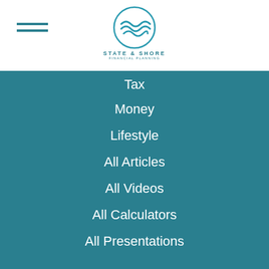[Figure (logo): State & Shore financial planning logo with circular wave icon in teal, company name below]
Tax
Money
Lifestyle
All Articles
All Videos
All Calculators
All Presentations
Check the background of your financial professional on FINRA's BrokerCheck.
The content is developed from sources believed to be providing accurate information. The information in this material is not intended as tax or legal advice. Please consult legal or tax professionals for specific information regarding your individual situation. Some of this material was developed and produced by FMG Suite to provide information on a topic that may be of interest. FMG Suite is not affiliated with the named representative, broker - dealer, state - or SEC - registered investment advisory firm. The opinions expressed and material provided are for general information, and should not be considered a solicitation for the purchase or sale of any security.